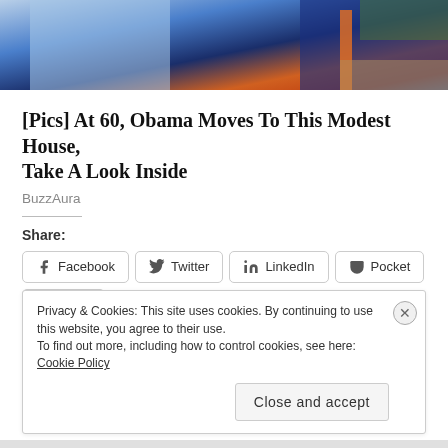[Figure (photo): Cropped photo showing two people outdoors, one wearing a blue checkered shirt and another in a blue dress with orange strap; greenery and pavement in background.]
[Pics] At 60, Obama Moves To This Modest House, Take A Look Inside
BuzzAura
Share:
Facebook Twitter LinkedIn Pocket Email
Privacy & Cookies: This site uses cookies. By continuing to use this website, you agree to their use.
To find out more, including how to control cookies, see here: Cookie Policy
Close and accept